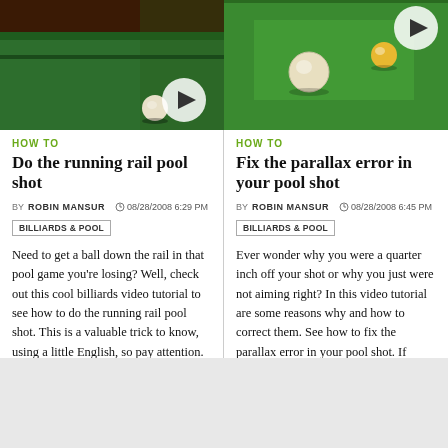[Figure (photo): Pool/billiards table video thumbnail with a ball near the rail, dark background, with circular play button overlay]
HOW TO
Do the running rail pool shot
BY ROBIN MANSUR   08/28/2008 6:29 PM
BILLIARDS & POOL
Need to get a ball down the rail in that pool game you're losing? Well, check out this cool billiards video tutorial to see how to do the running rail pool shot. This is a valuable trick to know, using a little English, so pay attention.
[Figure (photo): Pool/billiards table video thumbnail showing two balls on green felt, with circular play button overlay]
HOW TO
Fix the parallax error in your pool shot
BY ROBIN MANSUR   08/28/2008 6:45 PM
BILLIARDS & POOL
Ever wonder why you were a quarter inch off your shot or why you just were not aiming right? In this video tutorial are some reasons why and how to correct them. See how to fix the parallax error in your pool shot. If you're looking in the wrong place on the pool table, it could mean the shot.